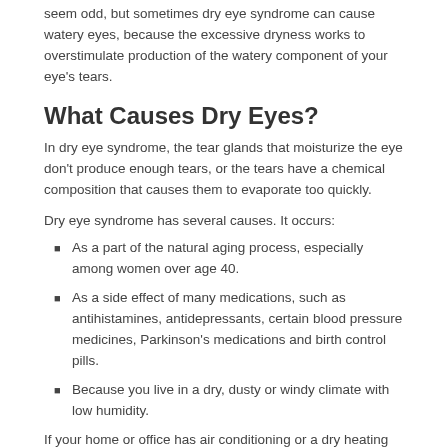seem odd, but sometimes dry eye syndrome can cause watery eyes, because the excessive dryness works to overstimulate production of the watery component of your eye's tears.
What Causes Dry Eyes?
In dry eye syndrome, the tear glands that moisturize the eye don't produce enough tears, or the tears have a chemical composition that causes them to evaporate too quickly.
Dry eye syndrome has several causes. It occurs:
As a part of the natural aging process, especially among women over age 40.
As a side effect of many medications, such as antihistamines, antidepressants, certain blood pressure medicines, Parkinson's medications and birth control pills.
Because you live in a dry, dusty or windy climate with low humidity.
If your home or office has air conditioning or a dry heating system, that too can dry out your eyes. Another cause is